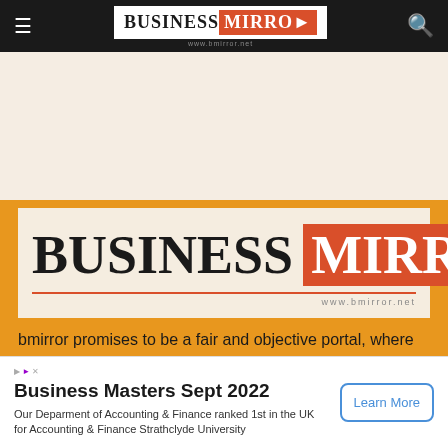Business Mirror navigation bar
[Figure (logo): Business Mirror logo - large version on cream background with www.bmirror.net URL]
bmirror promises to be a fair and objective portal, where readers can find the best information, recent bmirror . bmirror is the best selling News Portal
Business Masters Sept 2022
Our Deparment of Accounting & Finance ranked 1st in the UK for Accounting & Finance Strathclyde University
Learn More